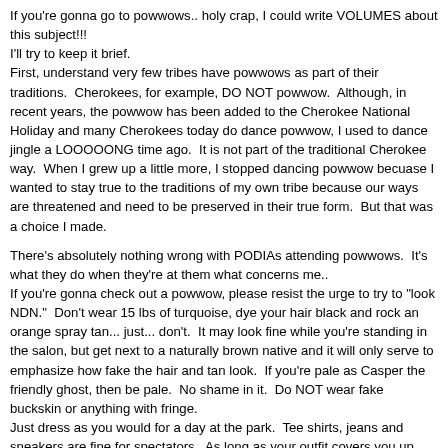If you're gonna go to powwows.. holy crap, I could write VOLUMES about this subject!!!
I'll try to keep it brief.
First, understand very few tribes have powwows as part of their traditions.  Cherokees, for example, DO NOT powwow.  Although, in recent years, the powwow has been added to the Cherokee National Holiday and many Cherokees today do dance powwow, I used to dance jingle a LOOOOONG time ago.  It is not part of the traditional Cherokee way.  When I grew up a little more, I stopped dancing powwow becuase I wanted to stay true to the traditions of my own tribe because our ways are threatened and need to be preserved in their true form.  But that was a choice I made.
There's absolutely nothing wrong with PODIAs attending powwows.  It's what they do when they're at them what concerns me..
If you're gonna check out a powwow, please resist the urge to try to "look NDN."  Don't wear 15 lbs of turquoise, dye your hair black and rock an orange spray tan... just... don't.  It may look fine while you're standing in the salon, but get next to a naturally brown native and it will only serve to emphasize how fake the hair and tan look.  If you're pale as Casper the friendly ghost, then be pale.  No shame in it.  Do NOT wear fake buckskin or anything with fringe.
Just dress as you would for a day at the park.  Tee shirts, jeans and sneakers are fine for spectators.  As long as your outfit covers you up and isn't revealing or tight, you should be fine.
There are many websites which deal with powwow etiquitte, so